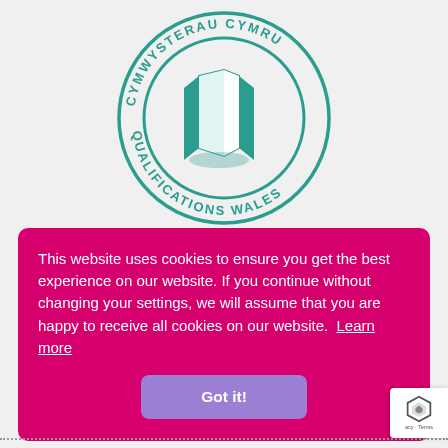[Figure (logo): Qualifications Wales / Cymwysterau Cymru circular logo with teal open book/door icon in center and text around the circle]
This website uses cookies to ensure you get the best experience on our website. If you continue without changing your settings, we will assume that you are happy to receive all cookies on our website.  Learn more
Got it!